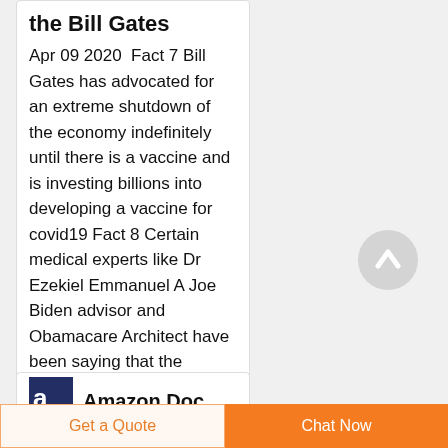the Bill Gates
Apr 09 2020  Fact 7 Bill Gates has advocated for an extreme shutdown of the economy indefinitely until there is a vaccine and is investing billions into developing a vaccine for covid19 Fact 8 Certain medical experts like Dr Ezekiel Emmanuel A Joe Biden advisor and Obamacare Architect have been saying that the economy cannot return
[Figure (illustration): Circular grey scroll-to-top button with upward arrow icon]
Amazon Doc
Get a Quote
Chat Now